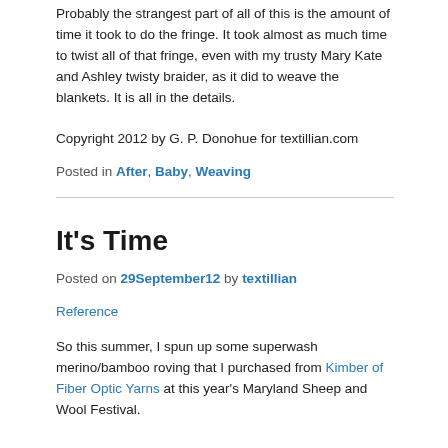Probably the strangest part of all of this is the amount of time it took to do the fringe. It took almost as much time to twist all of that fringe, even with my trusty Mary Kate and Ashley twisty braider, as it did to weave the blankets. It is all in the details.
Copyright 2012 by G. P. Donohue for textillian.com
Posted in After, Baby, Weaving
It's Time
Posted on 29September12 by textillian
Reference
So this summer, I spun up some superwash merino/bamboo roving that I purchased from Kimber of Fiber Optic Yarns at this year's Maryland Sheep and Wool Festival.